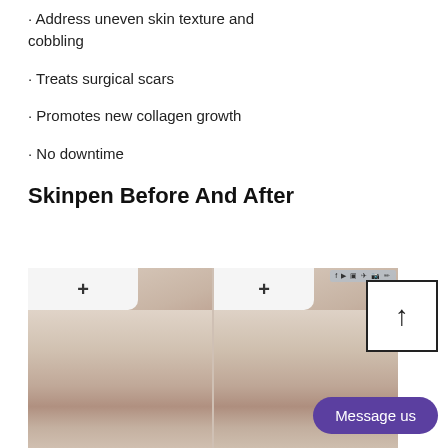· Address uneven skin texture and cobbling
· Treats surgical scars
· Promotes new collagen growth
· No downtime
Skinpen Before And After
[Figure (photo): Before and after side-by-side photo of a woman's face showing the results of Skinpen microneedling treatment, with the device visible at the top of each half.]